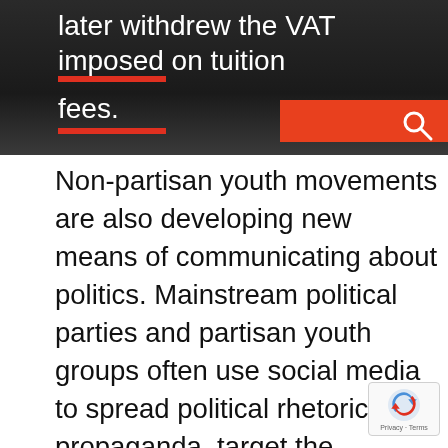later withdrew the VAT imposed on tuition fees.
Non-partisan youth movements are also developing new means of communicating about politics. Mainstream political parties and partisan youth groups often use social media to spread political rhetoric and propaganda, target the opposition with vicious language, and glorify their leaders. By contrast, non-partisan youth movement slogans are precise and direct, with demands such as, “We want safe roads,” “No VAT on education,” and “Stop rape.” Eve their social media, organizers have mac effort to build a clean image for the